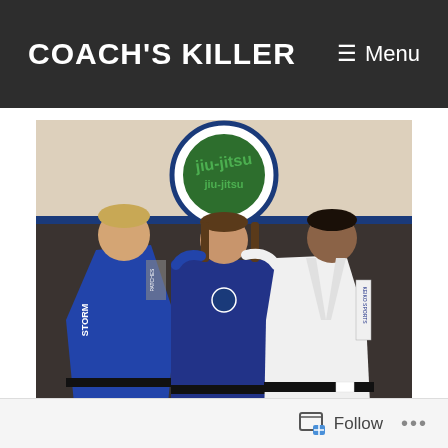COACH'S KILLER  ≡ Menu
[Figure (photo): Three people posing together in a jiu-jitsu gym. A jiu-jitsu logo sign is visible on the wall behind them. Left person wears a blue gi with STORM branding, center person wears a blue gi, right person wears a white gi with black belt and KEIKO SPORTS branding. All three are smiling.]
Follow  •••